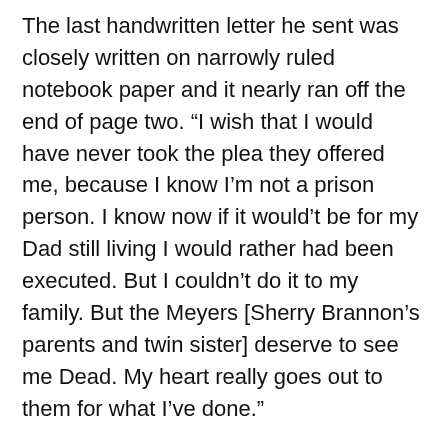The last handwritten letter he sent was closely written on narrowly ruled notebook paper and it nearly ran off the end of page two. “I wish that I would have never took the plea they offered me, because I know I’m not a prison person. I know now if it would’t be for my Dad still living I would rather had been executed. But I couldn’t do it to my family. But the Meyers [Sherry Brannon’s parents and twin sister] deserve to see me Dead. My heart really goes out to them for what I’ve done.”
While I continued to write occasionally, I did not hear from him again until November, 2018. Amazingly, an email appeared in my inbox. He said only “hi how” and attached was a color photo of him taken when he was perhaps in his mid-twenties. By this time prisoners had laptops and